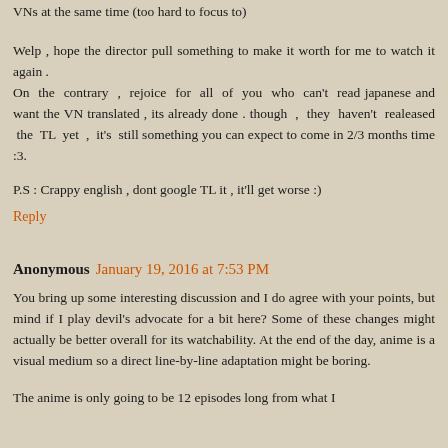VNs at the same time (too hard to focus to)
Welp , hope the director pull something to make it worth for me to watch it again .
On the contrary , rejoice for all of you who can't read japanese and want the VN translated , its already done . though , they haven't realeased the TL yet , it's still something you can expect to come in 2/3 months time :3.
P.S : Crappy english , dont google TL it , it'll get worse :)
Reply
Anonymous  January 19, 2016 at 7:53 PM
You bring up some interesting discussion and I do agree with your points, but mind if I play devil's advocate for a bit here? Some of these changes might actually be better overall for its watchability. At the end of the day, anime is a visual medium so a direct line-by-line adaptation might be boring.
The anime is only going to be 12 episodes long from what I